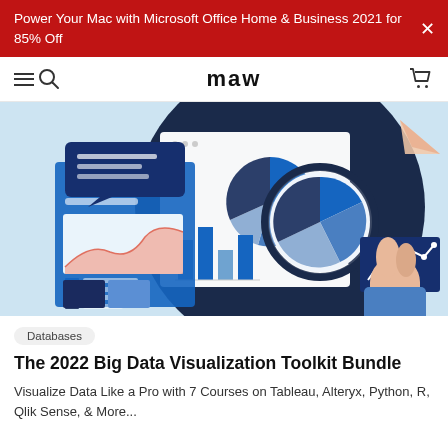Power Your Mac with Microsoft Office Home & Business 2021 for 85% Off
[Figure (screenshot): Website navigation bar with hamburger menu, search icon, 'maw' logo, and shopping cart icon]
[Figure (illustration): Data visualization illustration showing a hand holding a magnifying glass over charts including pie charts, bar charts, area charts, and analytics dashboards on a dark circular background with light blue background]
Databases
The 2022 Big Data Visualization Toolkit Bundle
Visualize Data Like a Pro with 7 Courses on Tableau, Alteryx, Python, R, Qlik Sense, & More...